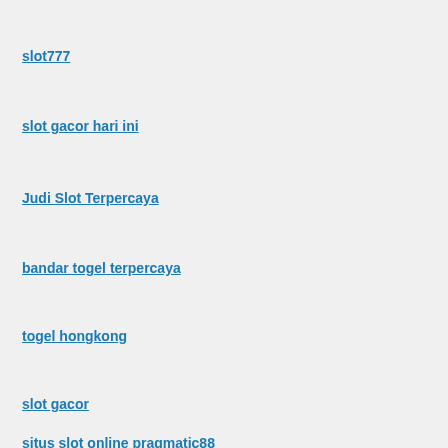slot777
slot gacor hari ini
Judi Slot Terpercaya
bandar togel terpercaya
togel hongkong
slot gacor
situs slot online pragmatic88